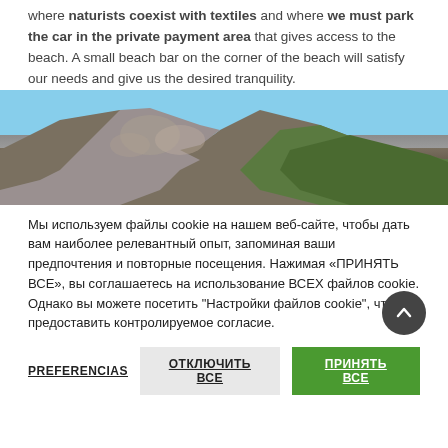where naturists coexist with textiles and where we must park the car in the private payment area that gives access to the beach. A small beach bar on the corner of the beach will satisfy our needs and give us the desired tranquility.
[Figure (photo): Rocky mountain cliff with green vegetation and blue sky]
Мы используем файлы cookie на нашем веб-сайте, чтобы дать вам наиболее релевантный опыт, запоминая ваши предпочтения и повторные посещения. Нажимая «ПРИНЯТЬ ВСЕ», вы соглашаетесь на использование ВСЕХ файлов cookie. Однако вы можете посетить "Настройки файлов cookie", чтобы предоставить контролируемое согласие.